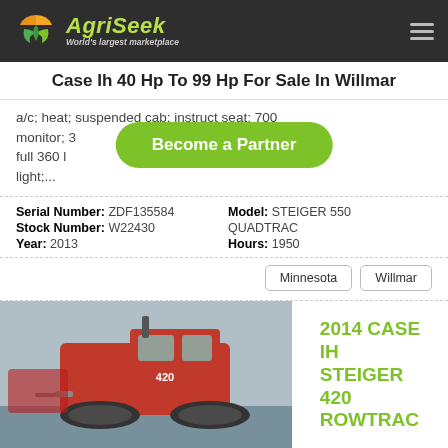AgriSeek — World's largest marketplace
Case Ih 40 Hp To 99 Hp For Sale In Willmar
a/c; heat; suspended cab; instruct seat; 700 monitor; 3... m/cd; full 360 ... beacon light;...
Become a Partner
Serial Number: ZDF135584  Model: STEIGER 550 QUADTRAC  Stock Number: W22430  Hours: 1950  Year: 2013
Minnesota  Willmar
[Figure (photo): Red Case IH Steiger 420 Rowtrac tractor with rubber tracks, parked outdoors]
2014 CASE IH STEIGER 420 ROWTRAC